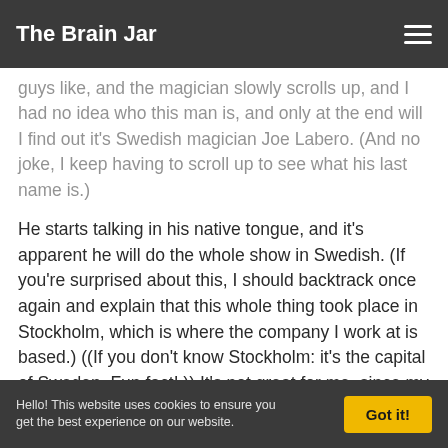The Brain Jar
guys like, and the magician slowly scrolls up, and I had no idea who this man is, and only at the end will I find out it's Swedish magician Joe Labero. (And no joke, I keep having to scroll up to see what his last name is.)
He starts talking in his native tongue, and it's apparent he will do the whole show in Swedish. (If you're surprised about this, I should backtrack once again and explain that this whole thing took place in Stockholm, which is where the company I work at is based.) ((If you don't know Stockholm: it's the capital of Sweden. Fun fact! )) It's not great for me, since my Swedish is limited, as I'm in fact from Belgium and spend my free time watching movies such as Mechanic: Resurrection instead of studying harder. I am feeling quite tired in my seat at this point – remember the insomnia – and the three beers I had before are not helping. Since I imagine
Hello! This website uses cookies to ensure you get the best experience on our website.   Got it!